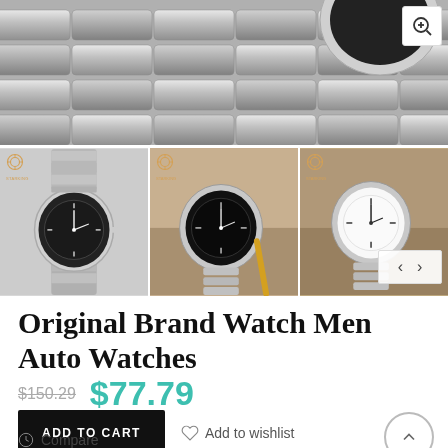[Figure (photo): Close-up photo of a silver stainless steel watch bracelet/band, top of page main product image with zoom icon]
[Figure (photo): Three thumbnail images of watches: left shows watch with black dial front view illustration; center shows watch with black dial on wooden surface; right shows watch with white dial on wooden surface. Navigation arrows on right thumbnail.]
Original Brand Watch Men Auto Watches
$150.29  $77.79
ADD TO CART
Add to wishlist
Compare